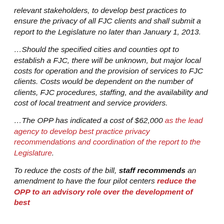relevant stakeholders, to develop best practices to ensure the privacy of all FJC clients and shall submit a report to the Legislature no later than January 1, 2013.
…Should the specified cities and counties opt to establish a FJC, there will be unknown, but major local costs for operation and the provision of services to FJC clients. Costs would be dependent on the number of clients, FJC procedures, staffing, and the availability and cost of local treatment and service providers.
…The OPP has indicated a cost of $62,000 as the lead agency to develop best practice privacy recommendations and coordination of the report to the Legislature.
To reduce the costs of the bill, staff recommends an amendment to have the four pilot centers reduce the OPP to an advisory role over the development of best